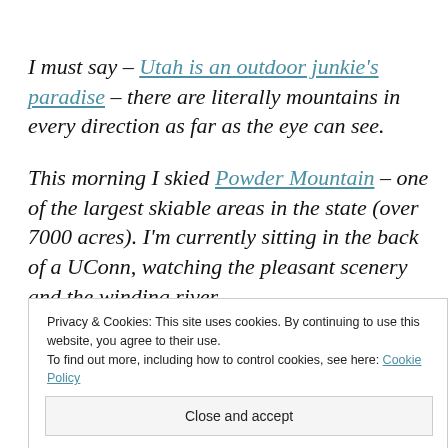I must say – Utah is an outdoor junkie's paradise – there are literally mountains in every direction as far as the eye can see.
This morning I skied Powder Mountain – one of the largest skiable areas in the state (over 7000 acres). I'm currently sitting in the back of a UConn, watching the pleasant scenery and the winding river
Privacy & Cookies: This site uses cookies. By continuing to use this website, you agree to their use. To find out more, including how to control cookies, see here: Cookie Policy
Close and accept